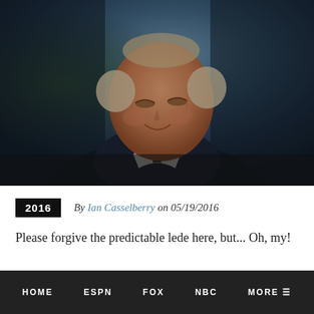[Figure (photo): Elderly man in dark suit and striped tie looking upward, photographed outdoors with blurred dark blue-green background]
2016   By Ian Casselberry on 05/19/2016
Please forgive the predictable lede here, but... Oh, my!
HOME   ESPN   FOX   NBC   MORE